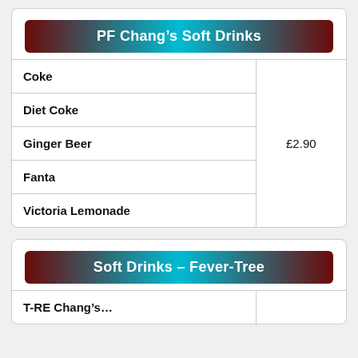PF Chang's Soft Drinks
| Item | Price |
| --- | --- |
| Coke | £2.90 |
| Diet Coke | £2.90 |
| Ginger Beer | £2.90 |
| Fanta | £2.90 |
| Victoria Lemonade | £2.90 |
Soft Drinks – Fever-Tree
| Item | Price |
| --- | --- |